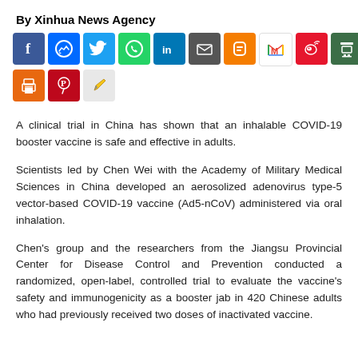By Xinhua News Agency
[Figure (other): Social media sharing icons: Facebook, Messenger, Twitter, WhatsApp, LinkedIn, Email, Blogger, Gmail, Weibo, Douban, Print, Pinterest, Edit/Copy]
A clinical trial in China has shown that an inhalable COVID-19 booster vaccine is safe and effective in adults.
Scientists led by Chen Wei with the Academy of Military Medical Sciences in China developed an aerosolized adenovirus type-5 vector-based COVID-19 vaccine (Ad5-nCoV) administered via oral inhalation.
Chen’s group and the researchers from the Jiangsu Provincial Center for Disease Control and Prevention conducted a randomized, open-label, controlled trial to evaluate the vaccine’s safety and immunogenicity as a booster jab in 420 Chinese adults who had previously received two doses of inactivated vaccine.